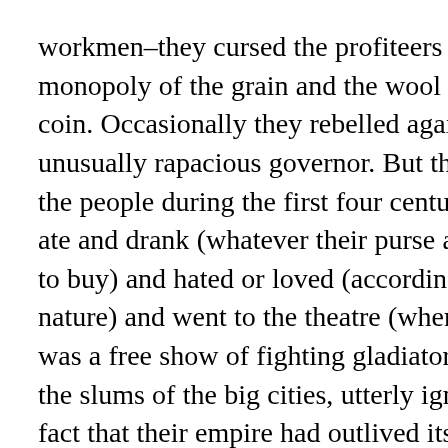workmen–they cursed the profiteers who had a monopoly of the grain and the wool and the gold coin. Occasionally they rebelled against an unusually rapacious governor. But the majority of the people during the first four centuries of our era ate and drank (whatever their purse allowed them to buy) and hated or loved (according to their nature) and went to the theatre (whenever there was a free show of fighting gladiators) or starved in the slums of the big cities, utterly ignorant of the fact that their empire had outlived its usefulness and was doomed to perish.